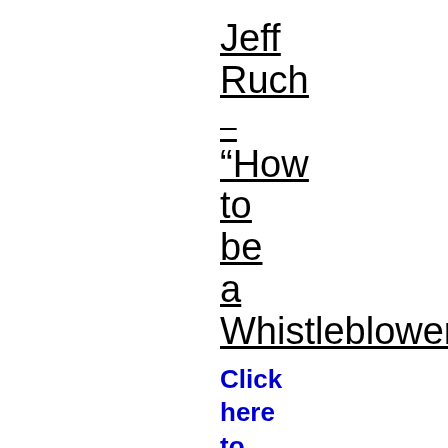Jeff Ruch
–
“How to be a Whistleblower”
Click here to begin listening.
The Art of